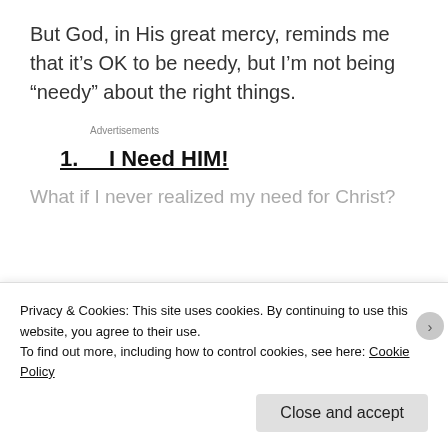But God, in His great mercy, reminds me that it’s OK to be needy, but I’m not being “needy” about the right things.
Advertisements
1.    I Need HIM!
What if I never realized my need for Christ?
Privacy & Cookies: This site uses cookies. By continuing to use this website, you agree to their use.
To find out more, including how to control cookies, see here: Cookie Policy
Close and accept